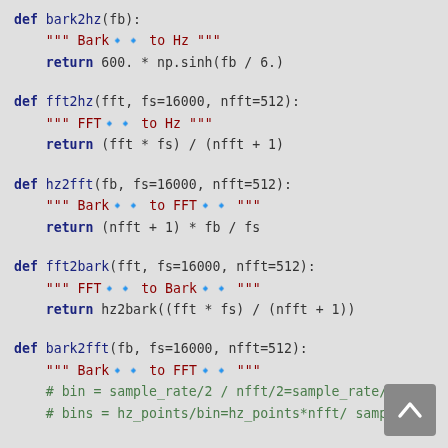def bark2hz(fb):
    """ Bark to Hz """
    return 600. * np.sinh(fb / 6.)
def fft2hz(fft, fs=16000, nfft=512):
    """ FFT to Hz """
    return (fft * fs) / (nfft + 1)
def hz2fft(fb, fs=16000, nfft=512):
    """ Bark to FFT """
    return (nfft + 1) * fb / fs
def fft2bark(fft, fs=16000, nfft=512):
    """ FFT to Bark """
    return hz2bark((fft * fs) / (nfft + 1))
def bark2fft(fb, fs=16000, nfft=512):
    """ Bark to FFT """
    # bin = sample_rate/2 / nfft/2=sample_rate/
    # bins = hz_points/bin=hz_points*nfft/ samp